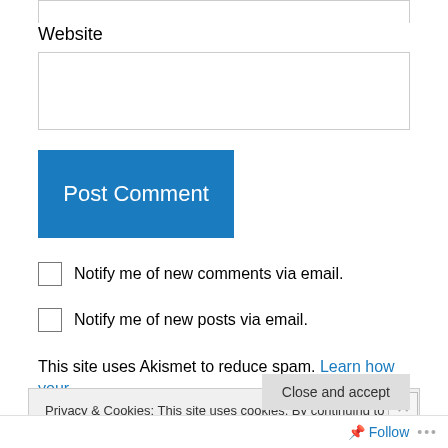Website
Post Comment
Notify me of new comments via email.
Notify me of new posts via email.
This site uses Akismet to reduce spam. Learn how your
Privacy & Cookies: This site uses cookies. By continuing to use this website, you agree to their use. To find out more, including how to control cookies, see here: Cookie Policy
Close and accept
Follow ...